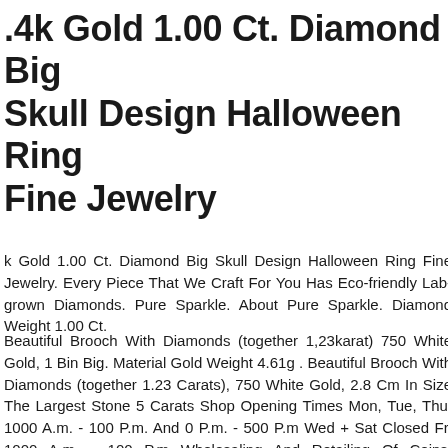14k Gold 1.00 Ct. Diamond Big Skull Design Halloween Ring Fine Jewelry
14k Gold 1.00 Ct. Diamond Big Skull Design Halloween Ring Fine Jewelry. Every Piece That We Craft For You Has Eco-friendly Lab-grown Diamonds. Pure Sparkle. About Pure Sparkle. Diamond Weight 1.00 Ct.
Beautiful Brooch With Diamonds (together 1,23karat) 750 White Gold, 1 Bin Big. Material Gold Weight 4.61g . Beautiful Brooch With Diamonds (together 1.23 Carats), 750 White Gold, 2.8 Cm In Size The Largest Stone 5 Carats Shop Opening Times Mon, Tue, Thu, 1000 A.m. - 100 P.m. And 0 P.m. - 500 P.m Wed + Sat Closed Fri 1000 A.m. - 100 P.m Wholesaling And Retailing Of Coins, Investment Gold And Silver, Medals , Decorations Badges , Militaria , Banknotes And Antiques . From Antiquity To The Present Purchase And Sale Of Precious Metals , Jewelry , Etc .
Oris Big Crown Pointer Date Bronze Auto Mens Watch 01 754